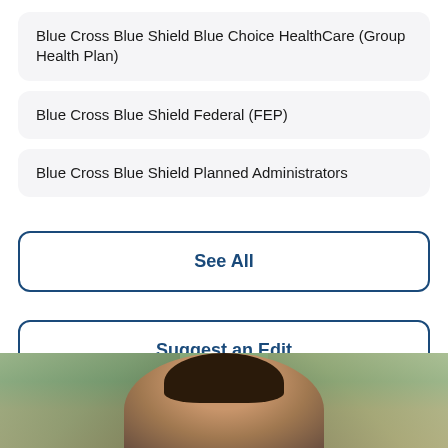Blue Cross Blue Shield Blue Choice HealthCare (Group Health Plan)
Blue Cross Blue Shield Federal (FEP)
Blue Cross Blue Shield Planned Administrators
See All
Suggest an Edit
[Figure (photo): Partial photo of a smiling woman with curly hair outdoors]